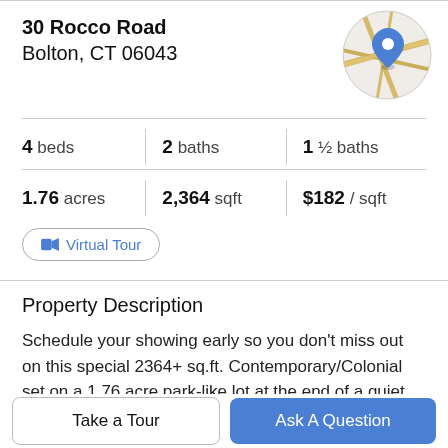30 Rocco Road
Bolton, CT 06043
[Figure (map): Circular map thumbnail with a blue location pin marker, showing road intersections on a light gray background with tan/gold road lines.]
4 beds   2 baths   1 ½ baths
1.76 acres   2,364 sqft   $182 / sqft
Virtual Tour
Property Description
Schedule your showing early so you don't miss out on this special 2364+ sq.ft. Contemporary/Colonial set on a 1.76 acre park-like lot at the end of a quiet cul-de-sac. The
beautiful open 1st floor includes the 13 x 25 vaulted...
Take a Tour
Ask A Question